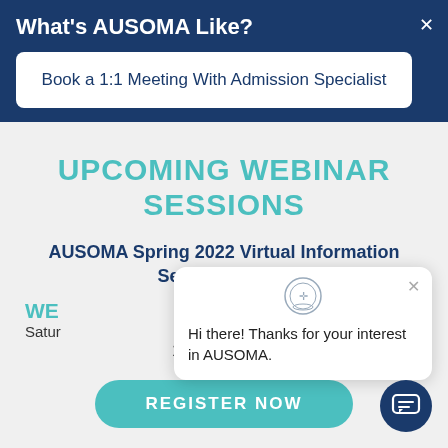What's AUSOMA Like?
Book a 1:1 Meeting With Admission Specialist
UPCOMING WEBINAR SESSIONS
AUSOMA Spring 2022 Virtual Information Sessions Dates
WE[binar label]
Satur[day]
12:00 PM EST
REGISTER NOW
Hi there! Thanks for your interest in AUSOMA.